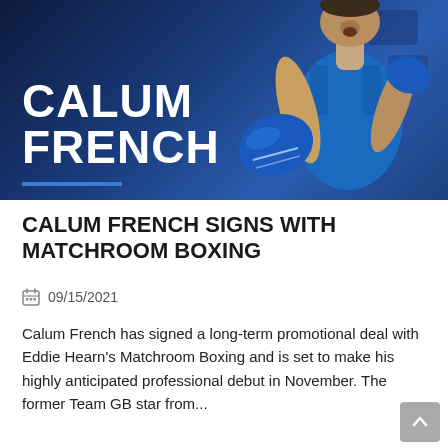[Figure (photo): Promotional photo of boxer Calum French in blue boxing gloves and sleeveless blue jersey, punching toward camera against dark blue background with 'CALUM FRENCH' text overlay and blue underline accent]
CALUM FRENCH SIGNS WITH MATCHROOM BOXING
09/15/2021
Calum French has signed a long-term promotional deal with Eddie Hearn's Matchroom Boxing and is set to make his highly anticipated professional debut in November. The former Team GB star from...